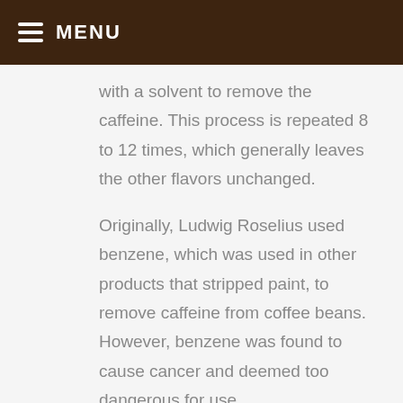MENU
with a solvent to remove the caffeine. This process is repeated 8 to 12 times, which generally leaves the other flavors unchanged.
Originally, Ludwig Roselius used benzene, which was used in other products that stripped paint, to remove caffeine from coffee beans. However, benzene was found to cause cancer and deemed too dangerous for use.